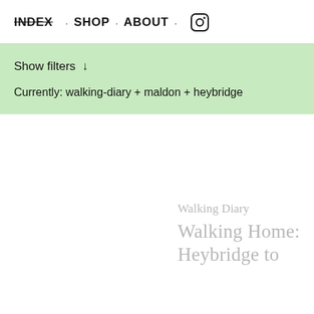INDEX · SHOP · ABOUT · [instagram]
Show filters ↓
Currently: walking-diary + maldon + heybridge
Walking Diary
Walking Home: Heybridge to